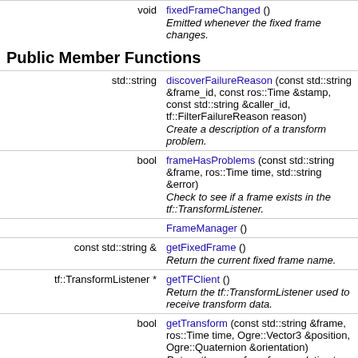| Type | Function |
| --- | --- |
| void | fixedFrameChanged ()
Emitted whenever the fixed frame changes. |
Public Member Functions
| Type | Function |
| --- | --- |
| std::string | discoverFailureReason (const std::string &frame_id, const ros::Time &stamp, const std::string &caller_id, tf::FilterFailureReason reason)
Create a description of a transform problem. |
| bool | frameHasProblems (const std::string &frame, ros::Time time, std::string &error)
Check to see if a frame exists in the tf::TransformListener. |
|  | FrameManager () |
| const std::string & | getFixedFrame ()
Return the current fixed frame name. |
| tf::TransformListener * | getTFClient ()
Return the tf::TransformListener used to receive transform data. |
| bool | getTransform (const std::string &frame, ros::Time time, Ogre::Vector3 &position, Ogre::Quaternion &orientation)
Return the pose for a frame relative to the fixed frame, in Ogre classes, at a given time. |
| template<typename Header > |  |